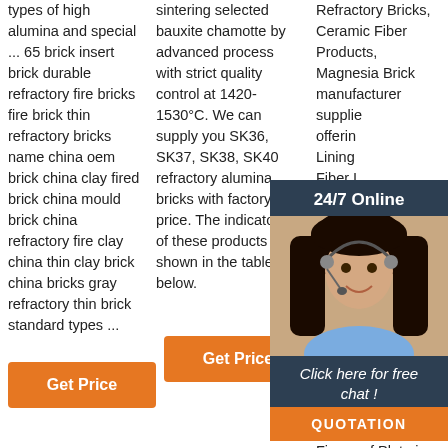types of high alumina and special ... 65 brick insert brick durable refractory fire bricks fire brick thin refractory bricks name china oem brick china clay fired brick china mould brick china refractory fire clay china thin clay brick china bricks gray refractory thin brick standard types ...
sintering selected bauxite chamotte by advanced process with strict quality control at 1420-1530°C. We can supply you SK36, SK37, SK38, SK40 refractory alumina bricks with factory price. The indicators of these products are shown in the table below.
Refractory Bricks, Ceramic Fiber Products, Magnesia Brick manufacturer supplier offering Lining Fiber industries for Oven Liner C Iron M Monoli Castab Refrac Resistance High Alumina Cement, Jewelry Kiln Insulation Plate Low Prices Fireproof Plate in
[Figure (photo): Customer service representative with headset, chat overlay with '24/7 Online' header, 'Click here for free chat!' text, and orange QUOTATION button]
[Figure (logo): TOP logo with orange dots arranged in a circle around the letters TOP in orange]
Get Price
Get Price